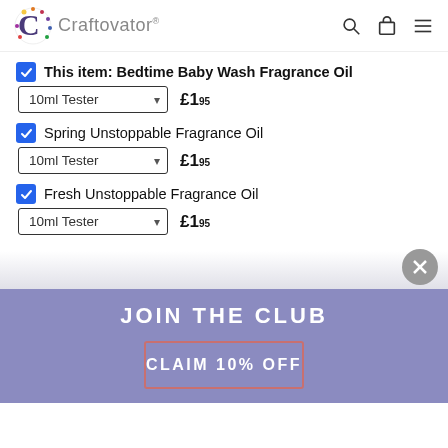[Figure (logo): Craftovator logo with purple C letter mark and brand name text]
This item: Bedtime Baby Wash Fragrance Oil — 10ml Tester — £1.95
Spring Unstoppable Fragrance Oil — 10ml Tester — £1.95
Fresh Unstoppable Fragrance Oil — 10ml Tester — £1.95
JOIN THE CLUB
CLAIM 10% OFF